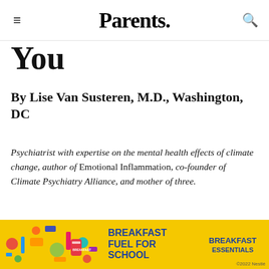Parents.
You
By Lise Van Susteren, M.D., Washington, DC
Psychiatrist with expertise on the mental health effects of climate change, author of Emotional Inflammation, co-founder of Climate Psychiatry Alliance, and mother of three.
When talking to kids about climate change, I advise using the three L's: listen, learn, and leverage. First, listen to what your child is saying...
[Figure (photo): Advertisement banner for Breakfast Essentials with colorful school supplies on yellow background. Text reads: BREAKFAST FUEL FOR SCHOOL, BREAKFAST ESSENTIALS. Copyright 2022 Nestlé.]